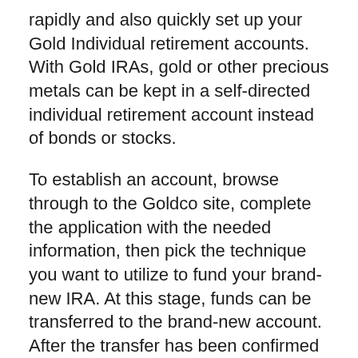rapidly and also quickly set up your Gold Individual retirement accounts. With Gold IRAs, gold or other precious metals can be kept in a self-directed individual retirement account instead of bonds or stocks.
To establish an account, browse through to the Goldco site, complete the application with the needed information, then pick the technique you want to utilize to fund your brand-new IRA. At this stage, funds can be transferred to the brand-new account. After the transfer has been confirmed by Golco, you can start to select the precious metals you want to buy for your individual retirement account.
The company offers gold coins and bars that